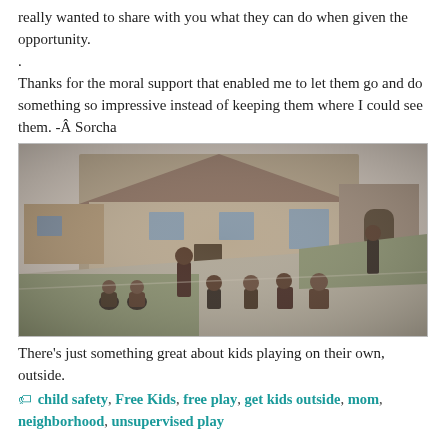really wanted to share with you what they can do when given the opportunity.
.
Thanks for the moral support that enabled me to let them go and do something so impressive instead of keeping them where I could see them. -Â Sorcha
[Figure (photo): Vintage black and white photograph of several children playing outdoors on a path in front of a house. Some children are crouching or kneeling on the ground, possibly playing marbles or a similar game, while one child stands in the background near the house.]
There's just something great about kids playing on their own, outside.
🏷 child safety, Free Kids, free play, get kids outside, mom, neighborhood, unsupervised play